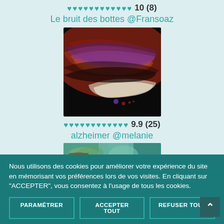♥♥♥♥♥♥♥♥♥♥♥♥ 10 (8)
Le bruit des bottes @Fransoaz
[Figure (photo): Abstract swirling colorful art image with red, purple, orange, and black tones]
♥♥♥♥♥♥♥♥♥♥♥♥ 9.9 (25)
alzheimer @melanie
[Figure (photo): Partial image with teal/green and brown tones, partially visible]
Nous utilisons des cookies pour améliorer votre expérience du site en mémorisant vos préférences lors de vos visites. En cliquant sur "ACCEPTER", vous consentez à l'usage de tous les cookies.
PARAMÉTRER
ACCEPTER TOUT
REFUSER TOUT